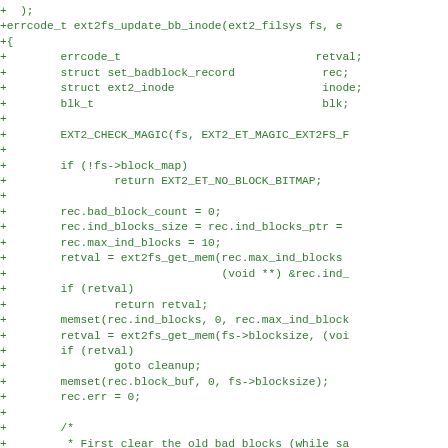Code diff showing ext2fs_update_bb_inode function implementation in C